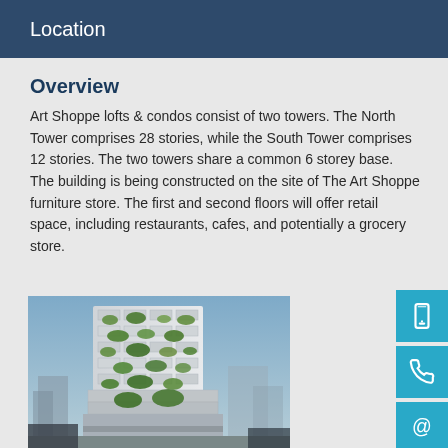Location
Overview
Art Shoppe lofts & condos consist of two towers. The North Tower comprises 28 stories, while the South Tower comprises 12 stories. The two towers share a common 6 storey base. The building is being constructed on the site of The Art Shoppe furniture store. The first and second floors will offer retail space, including restaurants, cafes, and potentially a grocery store.
[Figure (photo): Architectural rendering of a tall residential tower with green vegetation integrated into balconies and facade, against a blue sky with surrounding buildings visible.]